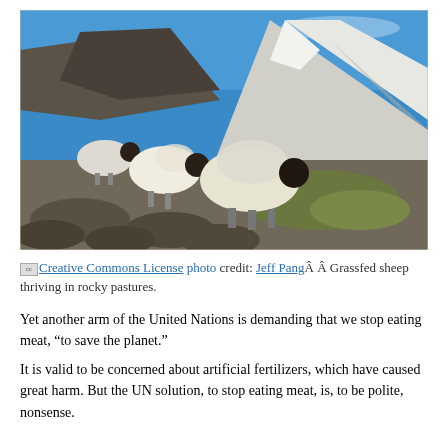[Figure (photo): Grassfed sheep standing on rocky mountain pastures with snow-capped peaks and blue sky in the background.]
Creative Commons License photo credit: Jeff Pang  Grassfed sheep thriving in rocky pastures.
Yet another arm of the United Nations is demanding that we stop eating meat, “to save the planet.”
It is valid to be concerned about artificial fertilizers, which have caused great harm. But the UN solution, to stop eating meat, is, to be polite, nonsense.